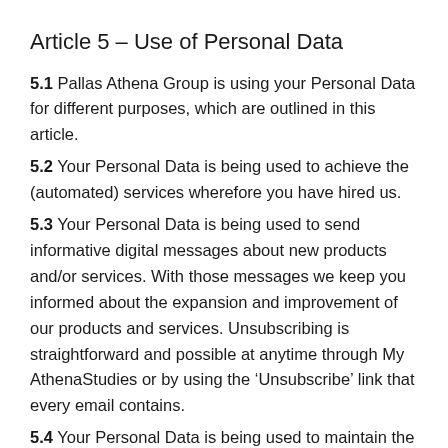Article 5 – Use of Personal Data
5.1 Pallas Athena Group is using your Personal Data for different purposes, which are outlined in this article.
5.2 Your Personal Data is being used to achieve the (automated) services wherefore you have hired us.
5.3 Your Personal Data is being used to send informative digital messages about new products and/or services. With those messages we keep you informed about the expansion and improvement of our products and services. Unsubscribing is straightforward and possible at anytime through My AthenaStudies or by using the ‘Unsubscribe’ link that every email contains.
5.4 Your Personal Data is being used to maintain the contact with you about products or services that have been purchased at Pallas Athena Group or going to be purchased in the future.